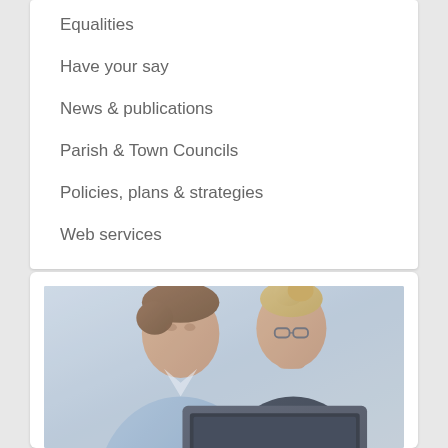Equalities
Have your say
News & publications
Parish & Town Councils
Policies, plans & strategies
Web services
[Figure (photo): Two professionals, a man in a light blue shirt and a woman with blonde hair wearing glasses and a dark top, leaning over and looking at a laptop computer together in an office setting.]